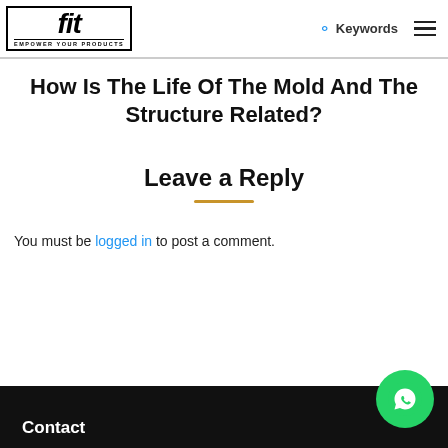fit — EMPOWER YOUR PRODUCTS | Keywords | Menu
How Is The Life Of The Mold And The Structure Related?
Leave a Reply
You must be logged in to post a comment.
Contact